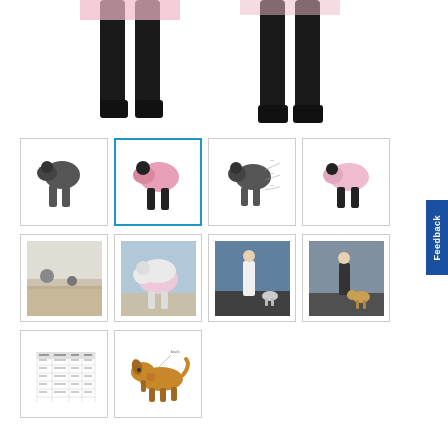[Figure (photo): Top portion of black dog mannequin forms wearing pink/grey coats, showing legs and lower body area — cropped hero image]
[Figure (photo): Thumbnail grid row 1: (1) black dog mannequin in grey coat, (2) black dog mannequin in pink coat (selected/highlighted), (3) black dog mannequin in grey coat with measurement annotations, (4) black dog mannequin in pink coat]
[Figure (photo): Thumbnail grid row 2: (1) dogs on beach landscape, (2) white dog wearing pink coat on beach, (3) woman with small dog on rocky coast, (4) person walking dog on coastal path]
[Figure (photo): Thumbnail grid row 3: (1) size chart/table showing measurements, (2) illustrated diagram of a Beagle/hound dog with measurement points annotated]